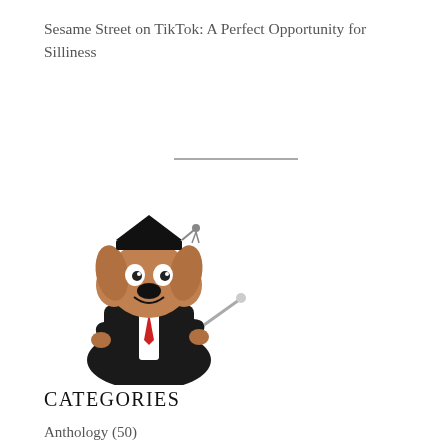Sesame Street on TikTok: A Perfect Opportunity for Silliness
[Figure (illustration): Cartoon illustration of a dog character wearing a graduation cap and academic gown, holding a conductor's baton]
CATEGORIES
Anthology (50)
Art (211)
Commentary (322)
Feature (2,073)
Fun Stuff (411)